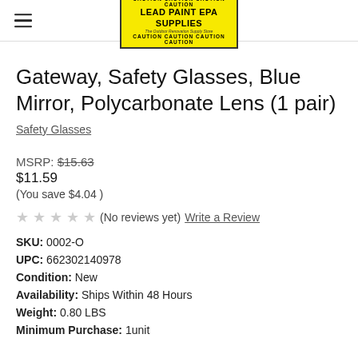[Figure (logo): Lead Paint EPA Supplies logo on yellow background with CAUTION tape borders]
Gateway, Safety Glasses, Blue Mirror, Polycarbonate Lens (1 pair)
Safety Glasses
MSRP: $15.63
$11.59
(You save $4.04 )
★★★★★ (No reviews yet) Write a Review
SKU: 0002-O
UPC: 662302140978
Condition: New
Availability: Ships Within 48 Hours
Weight: 0.80 LBS
Minimum Purchase: 1unit